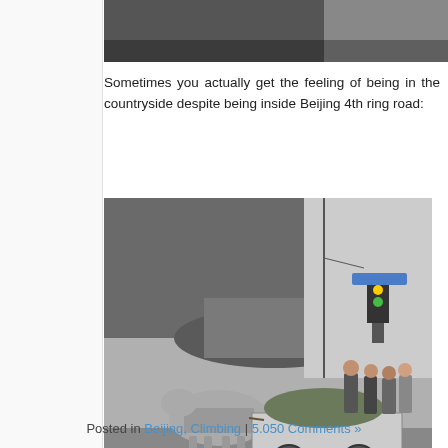[Figure (photo): Partial top image, appears to be a road or overpass scene, cropped at top of page]
Sometimes you actually get the feeling of being in the countryside despite being inside Beijing 4th ring road:
[Figure (photo): A donkey pulling a cart loaded with goods under a highway overpass in Beijing. Several people stand around the cart. A traffic light and street signs are visible in the background.]
Posted in Beijing, Climbing | 5.050 Comments »